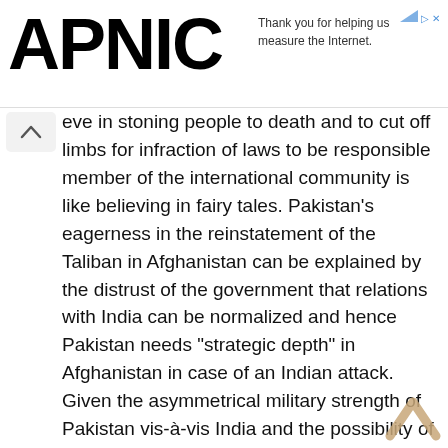APNIC — Thank you for helping us measure the Internet.
eve in stoning people to death and to cut off limbs for infraction of laws to be responsible member of the international community is like believing in fairy tales. Pakistan’s eagerness in the reinstatement of the Taliban in Afghanistan can be explained by the distrust of the government that relations with India can be normalized and hence Pakistan needs “strategic depth” in Afghanistan in case of an Indian attack. Given the asymmetrical military strength of Pakistan vis-à-vis India and the possibility of a limited Indian military attack if sufficiently provoked cannot be ruled out.
Wikileaks’ publication of documents mainly deal with waging the war by Bush administration that helped President Obama to send additional troops